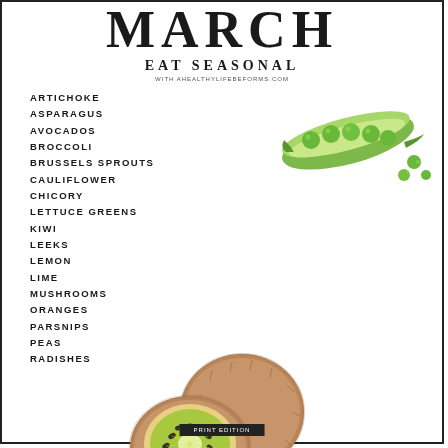MARCH
EAT SEASONAL
WITH AHEALTHYLIFEBEFORMS.COM
[Figure (illustration): Watercolor illustration of an open pea pod with peas scattered around it]
ARTICHOKE
ASPARAGUS
AVOCADOS
BROCCOLI
BRUSSELS SPROUTS
CAULIFLOWER
CHICORY
LETTUCE GREENS
KIWI
LEEKS
LEMON
LIME
MUSHROOMS
ORANGES
PARSNIPS
PEAS
RADISHES
[Figure (illustration): Watercolor illustration of two kiwi fruits, one whole and one cut in half showing the green interior]
PRINT EDITION